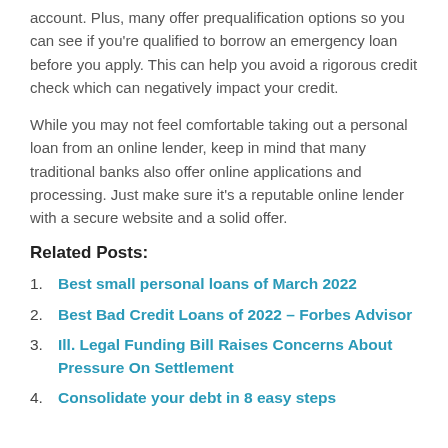account. Plus, many offer prequalification options so you can see if you're qualified to borrow an emergency loan before you apply. This can help you avoid a rigorous credit check which can negatively impact your credit.
While you may not feel comfortable taking out a personal loan from an online lender, keep in mind that many traditional banks also offer online applications and processing. Just make sure it's a reputable online lender with a secure website and a solid offer.
Related Posts:
Best small personal loans of March 2022
Best Bad Credit Loans of 2022 – Forbes Advisor
Ill. Legal Funding Bill Raises Concerns About Pressure On Settlement
Consolidate your debt in 8 easy steps